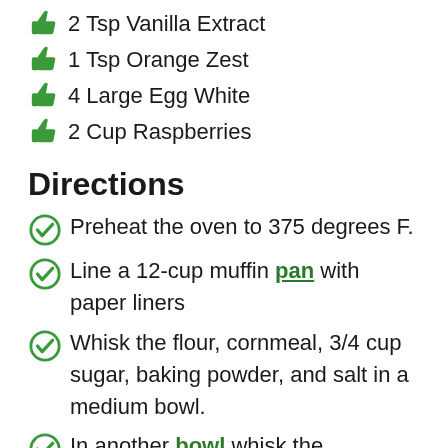2 Tsp Vanilla Extract
1 Tsp Orange Zest
4 Large Egg White
2 Cup Raspberries
Directions
Preheat the oven to 375 degrees F.
Line a 12-cup muffin pan with paper liners
Whisk the flour, cornmeal, 3/4 cup sugar, baking powder, and salt in a medium bowl.
In another bowl whisk the buttermilk, apricot nectar, grapeseed oil, vanilla extract, and orange